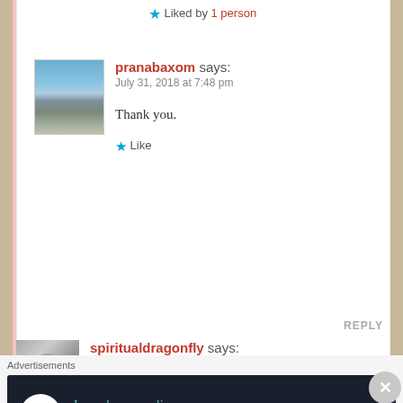★ Liked by 1 person
pranabaxom says:
July 31, 2018 at 7:48 pm

Thank you.

★ Like
REPLY
spiritualdragonfly says:
July 31, 2018 at 1:01 am
[Figure (screenshot): Advertisement banner: Launch your online course with WordPress — Learn More]
Advertisements
Launch your online course with WordPress — Learn More